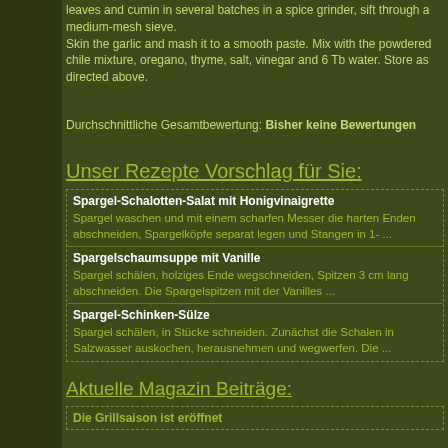leaves and cumin in several batches in a spice grinder, sift through a medium-mesh sieve.
Skin the garlic and mash it to a smooth paste. Mix with the powdered chile mixture, oregano, thyme, salt, vinegar and 6 Tb water. Store as directed above.
Durchschnittliche Gesamtbewertung: Bisher keine Bewertungen
Unser Rezepte Vorschlag für Sie:
Spargel-Schalotten-Salat mit Honigvinaigrette
Spargel waschen und mit einem scharfen Messer die harten Enden abschneiden, Spargelköpfe separat legen und Stangen in 1- ...
Spargelschaumsuppe mit Vanille
Spargel schälen, holziges Ende wegschneiden, Spitzen 3 cm lang abschneiden. Die Spargelspitzen mit der Vanilles ...
Spargel-Schinken-Sülze
Spargel schälen, in Stücke schneiden. Zunächst die Schalen in Salzwasser auskochen, herausnehmen und wegwerfen. Die ...
Aktuelle Magazin Beiträge:
Die Grillsaison ist eröffnet